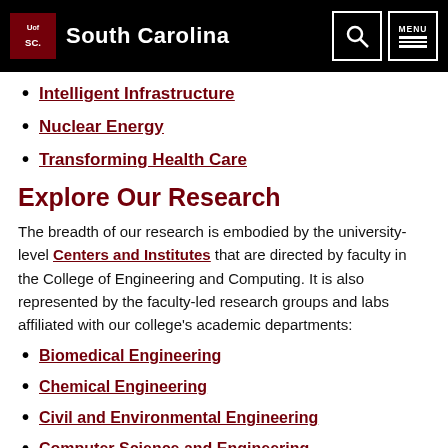University of South Carolina
Intelligent Infrastructure
Nuclear Energy
Transforming Health Care
Explore Our Research
The breadth of our research is embodied by the university-level Centers and Institutes that are directed by faculty in the College of Engineering and Computing. It is also represented by the faculty-led research groups and labs affiliated with our college's academic departments:
Biomedical Engineering
Chemical Engineering
Civil and Environmental Engineering
Computer Science and Engineering